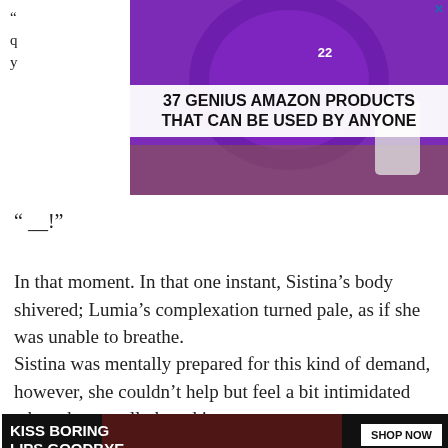[Figure (photo): Advertisement banner at top: purple headphones with '22' badge, text '37 GENIUS AMAZON PRODUCTS THAT CAN BE USED BY ANYONE', with partial text characters on the left side visible behind the ad.]
“ __!”
In that moment. In that one instant, Sistina’s body shivered; Lumia’s complexation turned pale, as if she was unable to breathe.
Sistina was mentally prepared for this kind of demand, however, she couldn’t help but feel a bit intimidated when she actually heard it.
“I-, I understand. I’ll accept this dem CLOSE
[Figure (photo): Advertisement banner at bottom: black background with woman's face wearing red lipstick, text 'KISS BORING LIPS GOODBYE', 'SHOP NOW' button, and Macy's star logo.]